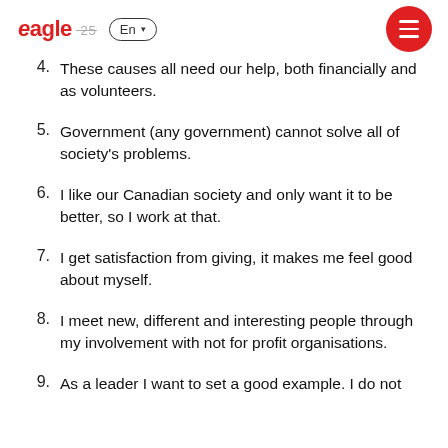eagle 25  En  [menu]
4.  These causes all need our help, both financially and as volunteers.
5.  Government (any government) cannot solve all of society's problems.
6.  I like our Canadian society and only want it to be better, so I work at that.
7.  I get satisfaction from giving, it makes me feel good about myself.
8.  I meet new, different and interesting people through my involvement with not for profit organisations.
9.  As a leader I want to set a good example. I do not